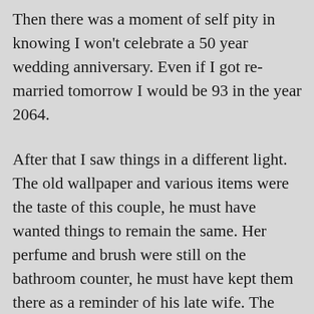Then there was a moment of self pity in knowing I won't celebrate a 50 year wedding anniversary. Even if I got re-married tomorrow I would be 93 in the year 2064.
After that I saw things in a different light. The old wallpaper and various items were the taste of this couple, he must have wanted things to remain the same. Her perfume and brush were still on the bathroom counter, he must have kept them there as a reminder of his late wife. The hospital bed had a knitted blanket on it, just like the blankets my grandmother in law knitted. He must have taken care of her in the later years as her health slipped